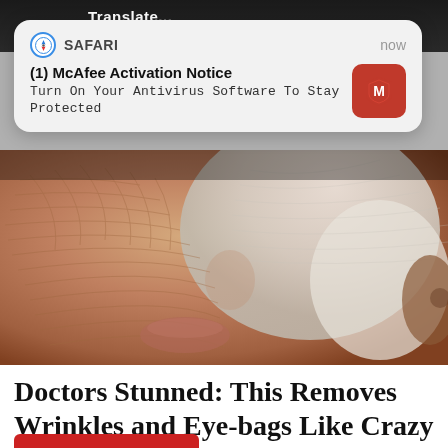[Figure (screenshot): iOS Safari push notification overlay showing McAfee Activation Notice: '(1) McAfee Activation Notice – Turn On Your Antivirus Software To Stay Protected' with McAfee red icon, on top of a web page showing a close-up photo of aged skin with wrinkles and a face mask, and article title 'Doctors Stunned: This Removes Wrinkles and Eye-bags Like Crazy (Try Tonight!)' with 'Trending Stories' byline.]